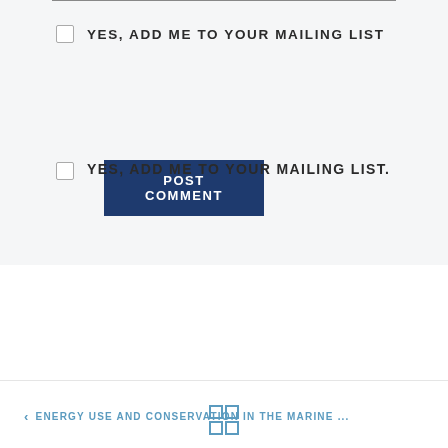YES, ADD ME TO YOUR MAILING LIST
POST COMMENT
YES, ADD ME TO YOUR MAILING LIST.
< ENERGY USE AND CONSERVATION IN THE MARINE ...